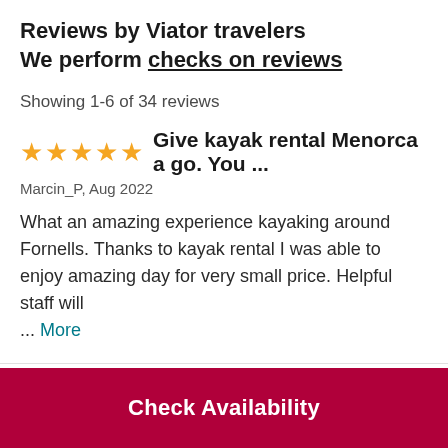Reviews by Viator travelers
We perform checks on reviews
Showing 1-6 of 34 reviews
★★★★★ Give kayak rental Menorca a go. You ...
Marcin_P, Aug 2022
What an amazing experience kayaking around Fornells. Thanks to kayak rental I was able to enjoy amazing day for very small price. Helpful staff will ... More
★★★★★ Go for it!
Check Availability